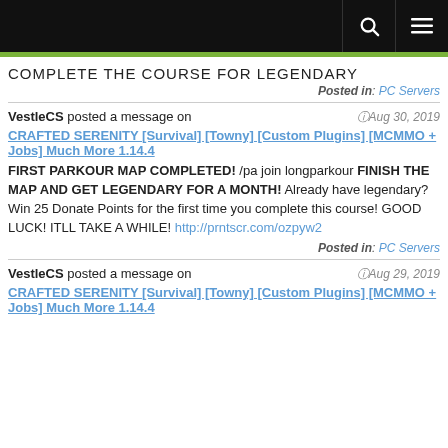COMPLETE THE COURSE FOR LEGENDARY
Posted in: PC Servers
VestleCS posted a message on CRAFTED SERENITY [Survival] [Towny] [Custom Plugins] [MCMMO + Jobs] Much More 1.14.4 — Aug 30, 2019
FIRST PARKOUR MAP COMPLETED! /pa join longparkour FINISH THE MAP AND GET LEGENDARY FOR A MONTH! Already have legendary? Win 25 Donate Points for the first time you complete this course! GOOD LUCK! ITLL TAKE A WHILE! http://prntscr.com/ozpyw2
Posted in: PC Servers
VestleCS posted a message on CRAFTED SERENITY [Survival] [Towny] [Custom Plugins] [MCMMO + Jobs] Much More 1.14.4 — Aug 29, 2019